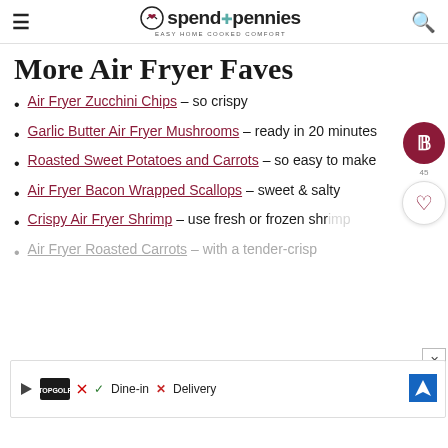spend with pennies — Easy Home Cooked Comfort
More Air Fryer Faves
Air Fryer Zucchini Chips – so crispy
Garlic Butter Air Fryer Mushrooms – ready in 20 minutes
Roasted Sweet Potatoes and Carrots – so easy to make
Air Fryer Bacon Wrapped Scallops – sweet & salty
Crispy Air Fryer Shrimp – use fresh or frozen shrimp
Air Fryer Roasted Carrots – with a tender-crisp